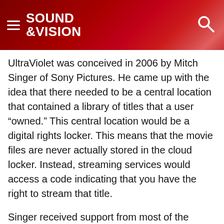SOUND &VISION
UltraViolet was conceived in 2006 by Mitch Singer of Sony Pictures. He came up with the idea that there needed to be a central location that contained a library of titles that a user “owned.” This central location would be a digital rights locker. This means that the movie files are never actually stored in the cloud locker. Instead, streaming services would access a code indicating that you have the right to stream that title.
Singer received support from most of the major Hollywood studios and some independent studios. An alliance was formed that was made up of film studios, retailers, consumer electronics